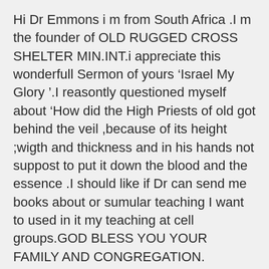Hi Dr Emmons i m from South Africa .I m the founder of OLD RUGGED CROSS SHELTER MIN.INT.i appreciate this wonderfull Sermon of yours ‘Israel My Glory ’.I reasontly questioned myself about ‘How did the High Priests of old got behind the veil ,because of its height ;wigth and thickness and in his hands not suppost to put it down the blood and the essence .I should like if Dr can send me books about or sumular teaching I want to used in it my teaching at cell groups.GOD BLESS YOU YOUR FAMILY AND CONGREGATION.